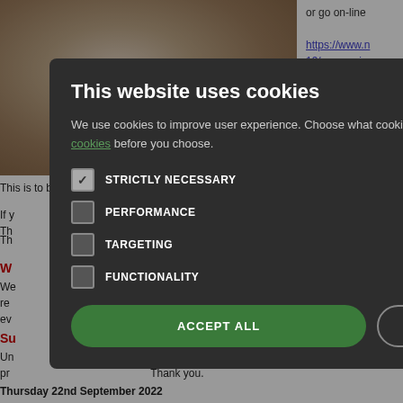[Figure (photo): Photo of person receiving vaccination injection in upper arm, cropped to show shoulder area]
or go on-line
https://www.n 19/coronavir vaccination/
This is to book into a Nottingham vaccination centre, we are not doing vac
If y booster then you can
Th
Th ntrol the virus and sav
W
We and concise help and
re n designed with the p
ev know what you think
Su me
Un tes for protected learn
pr Thank you.
Thursday 22nd September 2022
This website uses cookies

We use cookies to improve user experience. Choose what cookies you allow us to use. You can read more about our cookies before you choose.

STRICTLY NECESSARY
PERFORMANCE
TARGETING
FUNCTIONALITY

ACCEPT ALL  DECLINE ALL